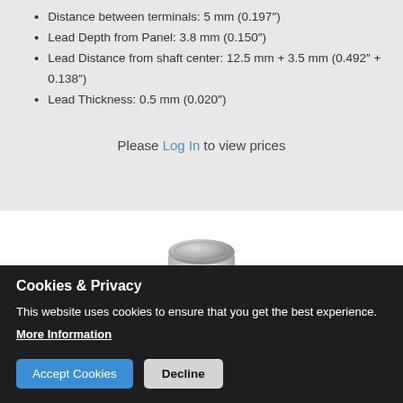Distance between terminals: 5 mm (0.197")
Lead Depth from Panel: 3.8 mm (0.150")
Lead Distance from shaft center: 12.5 mm + 3.5 mm (0.492" + 0.138")
Lead Thickness: 0.5 mm (0.020")
Please Log In to view prices
[Figure (photo): Close-up photo of a cylindrical metallic/silver knob or potentiometer shaft top, showing a rounded top surface with a slightly recessed circular cap.]
Cookies & Privacy
This website uses cookies to ensure that you get the best experience.
More Information
Accept Cookies
Decline